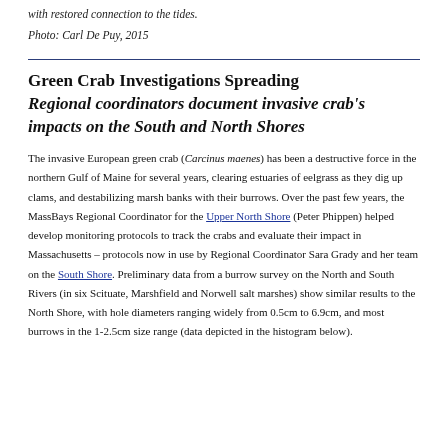with restored connection to the tides.
Photo: Carl De Puy, 2015
Green Crab Investigations Spreading Regional coordinators document invasive crab's impacts on the South and North Shores
The invasive European green crab (Carcinus maenes) has been a destructive force in the northern Gulf of Maine for several years, clearing estuaries of eelgrass as they dig up clams, and destabilizing marsh banks with their burrows. Over the past few years, the MassBays Regional Coordinator for the Upper North Shore (Peter Phippen) helped develop monitoring protocols to track the crabs and evaluate their impact in Massachusetts – protocols now in use by Regional Coordinator Sara Grady and her team on the South Shore. Preliminary data from a burrow survey on the North and South Rivers (in six Scituate, Marshfield and Norwell salt marshes) show similar results to the North Shore, with hole diameters ranging widely from 0.5cm to 6.9cm, and most burrows in the 1-2.5cm size range (data depicted in the histogram below).